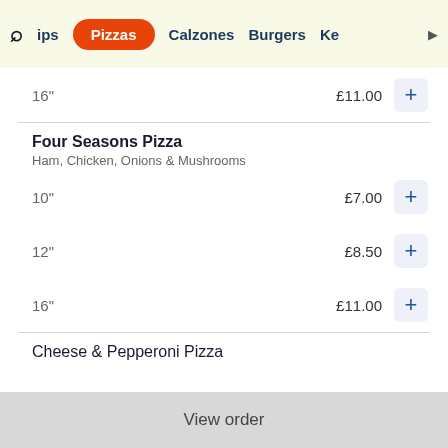ips  Pizzas  Calzones  Burgers  Ke
16"  £11.00
Four Seasons Pizza
Ham, Chicken, Onions & Mushrooms
10"  £7.00
12"  £8.50
16"  £11.00
Cheese & Pepperoni Pizza
View order